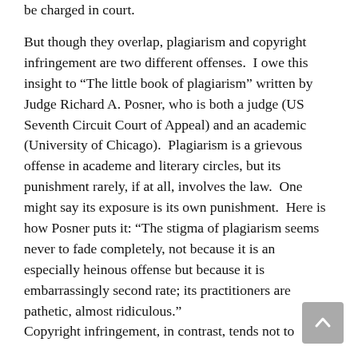be charged in court.
But though they overlap, plagiarism and copyright infringement are two different offenses.  I owe this insight to “The little book of plagiarism” written by Judge Richard A. Posner, who is both a judge (US Seventh Circuit Court of Appeal) and an academic (University of Chicago).  Plagiarism is a grievous offense in academe and literary circles, but its punishment rarely, if at all, involves the law.  One might say its exposure is its own punishment.  Here is how Posner puts it: “The stigma of plagiarism seems never to fade completely, not because it is an especially heinous offense but because it is embarrassingly second rate; its practitioners are pathetic, almost ridiculous.”
Copyright infringement, in contrast, tends not to